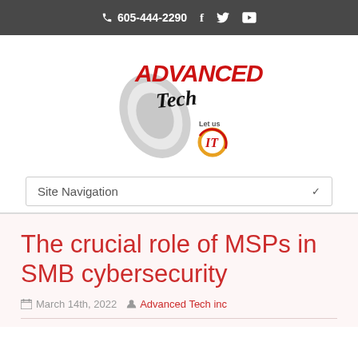📞 605-444-2290  f  🐦  ▶
[Figure (logo): Advanced Tech 'Let us IT' company logo with stylized mouse graphic, red bold ADVANCED text, cursive Tech text, and circular IT icon]
Site Navigation ∨
The crucial role of MSPs in SMB cybersecurity
📅 March 14th, 2022  👤 Advanced Tech inc